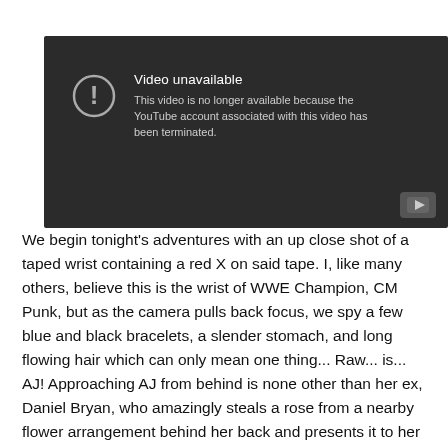[Figure (screenshot): YouTube video unavailable screen with dark background, exclamation mark in circle icon, title 'Video unavailable', message 'This video is no longer available because the YouTube account associated with this video has been terminated.' and YouTube play button logo in bottom right corner.]
We begin tonight's adventures with an up close shot of a taped wrist containing a red X on said tape. I, like many others, believe this is the wrist of WWE Champion, CM Punk, but as the camera pulls back focus, we spy a few blue and black bracelets, a slender stomach, and long flowing hair which can only mean one thing... Raw... is... AJ! Approaching AJ from behind is none other than her ex, Daniel Bryan, who amazingly steals a rose from a nearby flower arrangement behind her back and presents it to her as if he picked it himself. (Side note: This is the first time I'm